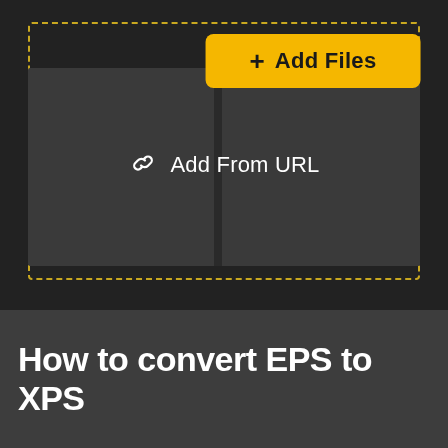[Figure (screenshot): Dark UI interface showing a file upload area with a dashed yellow border, a yellow 'Add Files' button with a plus icon, and a gray panel below with a link icon and 'Add From URL' text. A vertical divider splits the lower panel into two sections.]
How to convert EPS to XPS